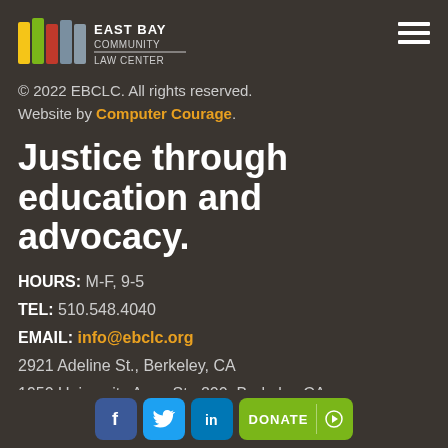[Figure (logo): East Bay Community Law Center logo with colored vertical bars and text]
© 2022 EBCLC. All rights reserved.
Website by Computer Courage.
Justice through education and advocacy.
HOURS: M-F, 9-5
TEL: 510.548.4040
EMAIL: info@ebclc.org
2921 Adeline St., Berkeley, CA
1950 University Ave., Ste 200, Berkeley CA
[Figure (infographic): Social media icons (Facebook, Twitter, LinkedIn) and Donate button]